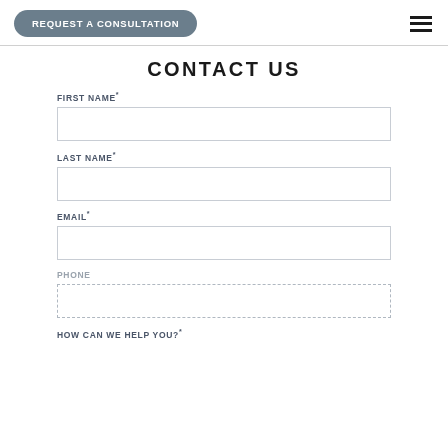REQUEST A CONSULTATION
CONTACT US
FIRST NAME*
LAST NAME*
EMAIL*
PHONE
HOW CAN WE HELP YOU?*